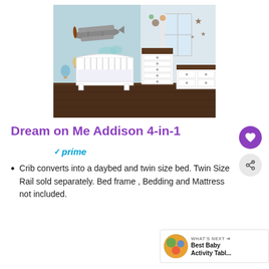[Figure (photo): Baby nursery room scene with white crib, white dresser/chest of drawers, dark hardwood floor, and decorative wall mural featuring a vintage biplane, hot air balloons, and clouds. Window with sheer curtains on right side, star decorations on wall.]
Dream on Me Addison 4-in-1
✓prime
Crib converts into a daybed and twin size bed. Twin Size Rail sold separately. Bed frame , Bedding and Mattress not included.